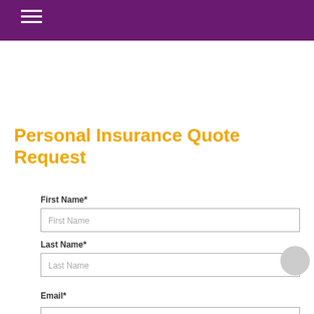Personal Insurance Quote Request
First Name*
Last Name*
Email*